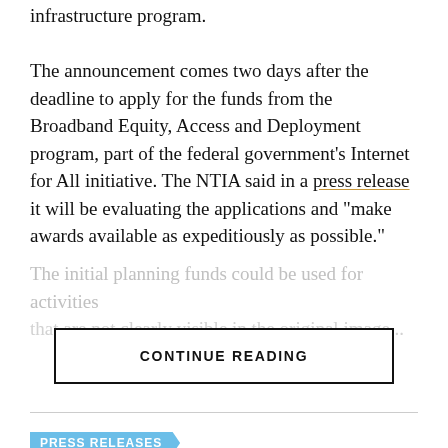infrastructure program.
The announcement comes two days after the deadline to apply for the funds from the Broadband Equity, Access and Deployment program, part of the federal government's Internet for All initiative. The NTIA said in a press release it will be evaluating the applications and “make awards available as expeditiously as possible.”
The initial planning funds could be used for activities...
CONTINUE READING
PRESS RELEASES
Institute for Local Self-Reliance Announces Two Initiatives to Foster